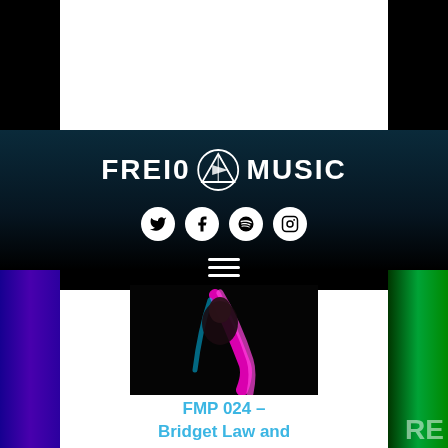[Figure (logo): FREI0 Music logo with triangular icon, white text on dark blue-black header background]
[Figure (infographic): Four social media icons in white circles: Twitter, Facebook, Spotify, Instagram]
[Figure (photo): Dark background photo of a performer (Bridget Law and Tierro Lee) with colorful streaks of light]
FMP 024 – Bridget Law and Tierro Lee